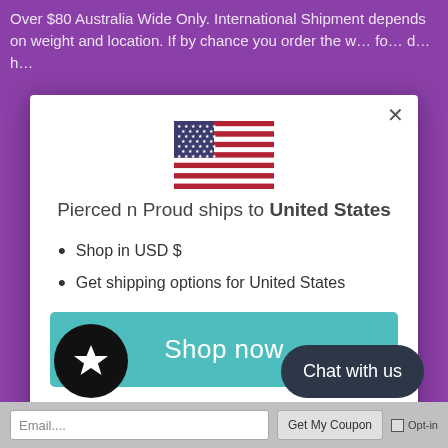Over $80 Australia Wide Only. International Shipment depends on weight and location. If by chance you order the w... fo... d... h...
[Figure (illustration): United States flag icon]
Pierced n Proud ships to United States
Shop in USD $
Get shipping options for United States
Shop now
Change shipping country
[Figure (illustration): Black circle with white star icon (loyalty/favorites badge)]
Chat with us